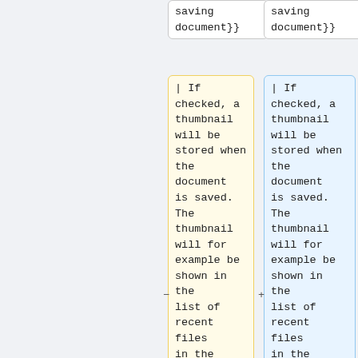saving document}}
saving document}}
| If checked, a thumbnail will be stored when the document is saved. The thumbnail will for example be shown in the list of recent files in the [[Start_Workbench|Start workbench]]. It is
| If checked, a thumbnail will be stored when the document is saved. The thumbnail will for example be shown in the list of recent files in the [[Start_Workbench|Start Workbench]]. It is